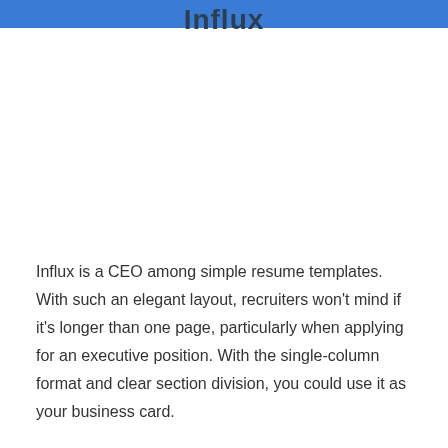Influx
Influx
Influx is a CEO among simple resume templates. With such an elegant layout, recruiters won't mind if it's longer than one page, particularly when applying for an executive position. With the single-column format and clear section division, you could use it as your business card.